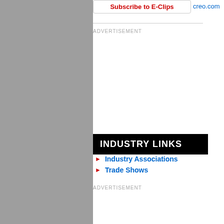Subscribe to E-Clips
creo.com
ADVERTISEMENT
INDUSTRY LINKS
Industry Associations
Trade Shows
ADVERTISEMENT